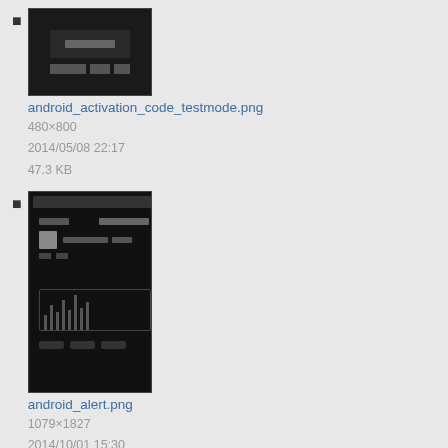android_activation_code_testmode.png
480×800
2014/05/08 22:17
47.3 KB
android_alert.png
1079×1827
2014/10/01 15:30
95.5 KB
android_alert2.png
1074×1818